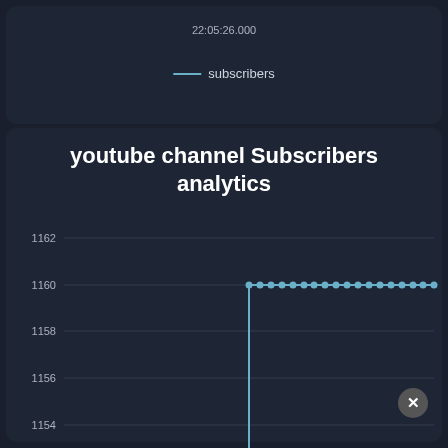22:05:26.000
— subscribers
[Figure (line-chart): Line chart showing YouTube subscriber count over time. The line sits flat at 1150 for many data points, then jumps sharply up to 1160 where it remains flat for subsequent data points.]